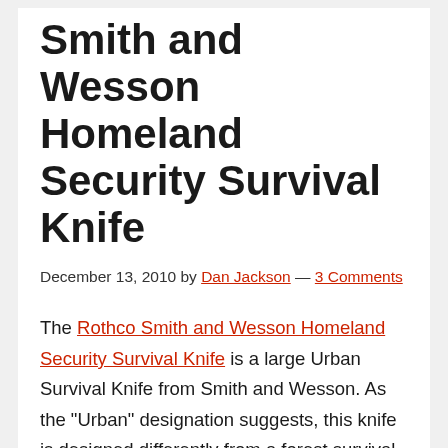Smith and Wesson Homeland Security Survival Knife
December 13, 2010 by Dan Jackson — 3 Comments
The Rothco Smith and Wesson Homeland Security Survival Knife is a large Urban Survival Knife from Smith and Wesson. As the “Urban” designation suggests, this knife is designed differently from a forest survival knife. The large tanto blade, urban camo paint job, and large non-functional serrations on the back of the blade add to the urban effect.